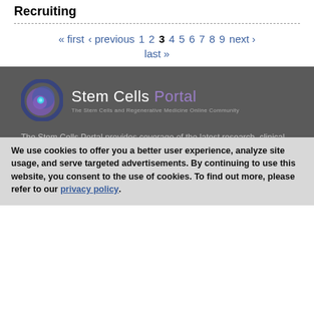Recruiting
« first ‹ previous 1 2 3 4 5 6 7 8 9 next › last »
[Figure (logo): Stem Cells Portal logo with circular purple/blue swirl icon and text 'Stem Cells Portal - The Stem Cells and Regenerative Medicine Online Community']
The Stem Cells Portal provides coverage of the latest research, clinical applications, policies, and developments in the stem cell and regenerative medicine fields.
Clinical Trials: Stem Cells and Regenerative Medicine
We use cookies to offer you a better user experience, analyze site usage, and serve targeted advertisements. By continuing to use this website, you consent to the use of cookies. To find out more, please refer to our privacy policy.